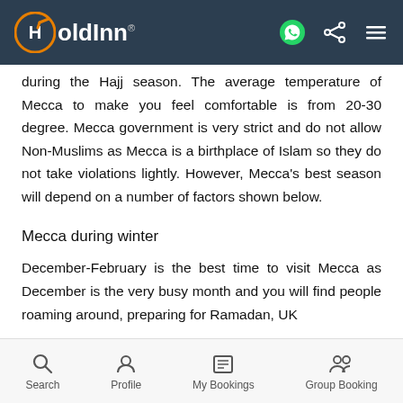HoldInn
during the Hajj season. The average temperature of Mecca to make you feel comfortable is from 20-30 degree. Mecca government is very strict and do not allow Non-Muslims as Mecca is a birthplace of Islam so they do not take violations lightly. However, Mecca's best season will depend on a number of factors shown below.
Mecca during winter
December-February is the best time to visit Mecca as December is the very busy month and you will find people roaming around, preparing for Ramadan, UK
Search  Profile  My Bookings  Group Booking